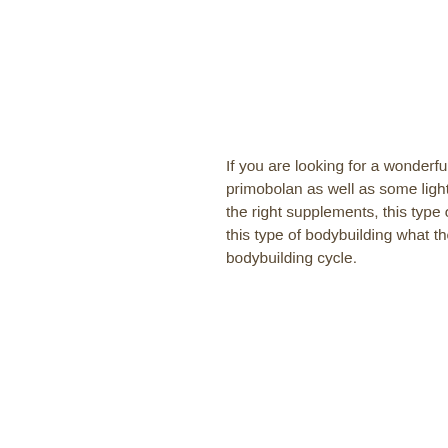If you are looking for a wonderful re-comp or bodybuilder look after that stacking with primobolan as well as some light testosterone would be tremendouswith a decent diet and the right supplements, this type of bodybuilding does exist! Please consider my advice, with this type of bodybuilding what the hell do you need other than your genetics to go through a bodybuilding cycle.
Here are some pictures after a month:
Here are some thoughts. Some bodybuilders have no problem taking this type of approach with a good nutrition and proper supplementation plan. I'm only giving basic advice and these are